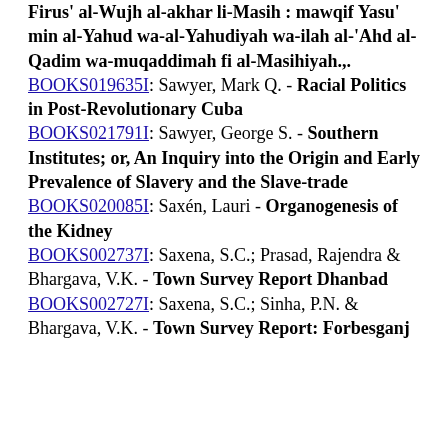Firus - al-Wujh al-akhar li-Masih : mawqif Yasu' min al-Yahud wa-al-Yahudiyah wa-ilah al-'Ahd al-Qadim wa-muqaddimah fi al-Masihiyah.,. BOOKS019635I: Sawyer, Mark Q. - Racial Politics in Post-Revolutionary Cuba
BOOKS021791I: Sawyer, George S. - Southern Institutes; or, An Inquiry into the Origin and Early Prevalence of Slavery and the Slave-trade
BOOKS020085I: Saxén, Lauri - Organogenesis of the Kidney
BOOKS002737I: Saxena, S.C.; Prasad, Rajendra & Bhargava, V.K. - Town Survey Report Dhanbad
BOOKS002727I: Saxena, S.C.; Sinha, P.N. & Bhargava, V.K. - Town Survey Report: Forbesganj